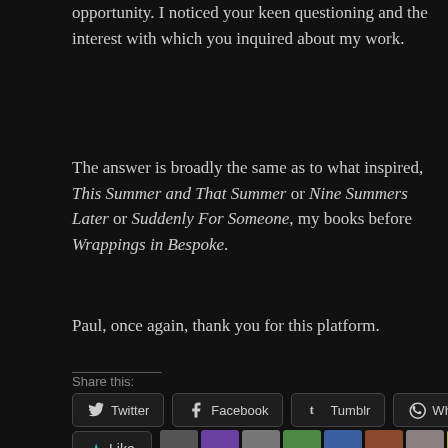opportunity. I noticed your keen questioning and the interest with which you inquired about my work.
The answer is broadly the same as to what inspired, This Summer and That Summer or Nine Summers Later or Suddenly For Someone, my books before Wrappings in Bespoke.
Paul, once again, thank you for this platform.
Share this:
Twitter
Facebook
Tumblr
WhatsApp
Email
Like
18 bloggers like this.